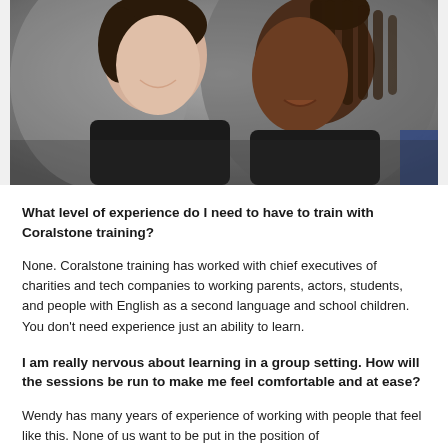[Figure (photo): Two women in close-up, one with light skin and dark hair wearing black, another with dark skin and braided hair, blurred background]
What level of experience do I need to have to train with Coralstone training?
None. Coralstone training has worked with chief executives of charities and tech companies to working parents, actors, students, and people with English as a second language and school children. You don't need experience just an ability to learn.
I am really nervous about learning in a group setting. How will the sessions be run to make me feel comfortable and at ease?
Wendy has many years of experience of working with people that feel like this. None of us want to be put in the position of